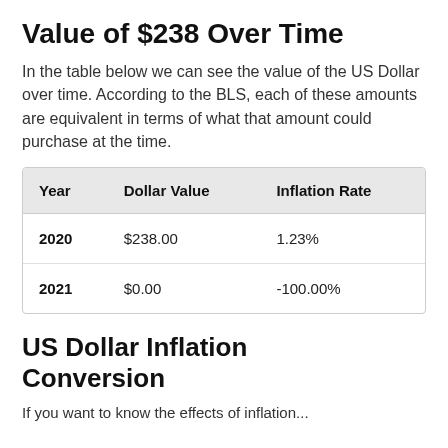Value of $238 Over Time
In the table below we can see the value of the US Dollar over time. According to the BLS, each of these amounts are equivalent in terms of what that amount could purchase at the time.
| Year | Dollar Value | Inflation Rate |
| --- | --- | --- |
| 2020 | $238.00 | 1.23% |
| 2021 | $0.00 | -100.00% |
US Dollar Inflation Conversion
If you want to know the effects of inflation...